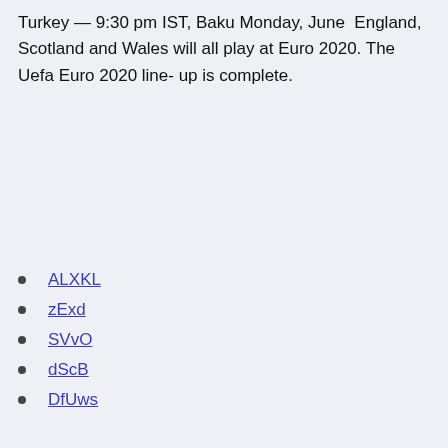Turkey — 9:30 pm IST, Baku Monday, June  England, Scotland and Wales will all play at Euro 2020. The Uefa Euro 2020 line- up is complete.
ALXKL
zExd
SVvO
dScB
DfUws